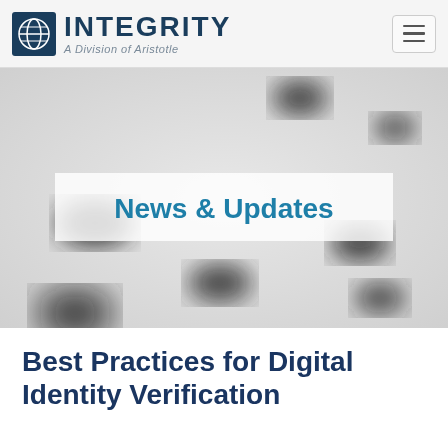INTEGRITY — A Division of Aristotle
[Figure (photo): Blurred abstract background with dark oval/elliptical shapes on light gray surface, with a semi-transparent white banner overlay reading 'News & Updates']
News & Updates
Best Practices for Digital Identity Verification